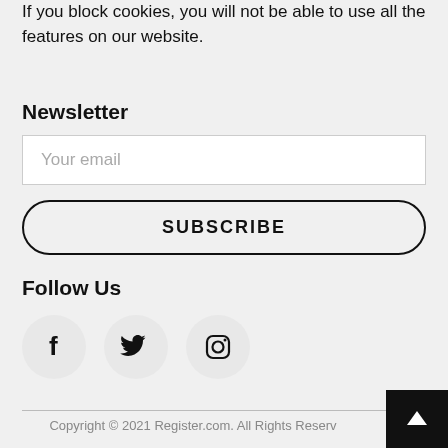If you block cookies, you will not be able to use all the features on our website.
Newsletter
Your email
SUBSCRIBE
Follow Us
[Figure (infographic): Three social media icons in circular grey buttons: Facebook (f), Twitter (bird), Instagram (camera outline)]
Copyright © 2021 Register.com. All Rights Reserved